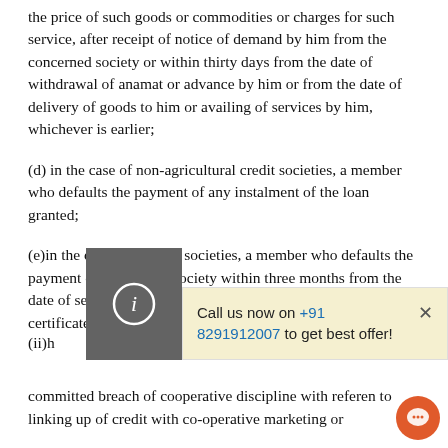the price of such goods or commodities or charges for such service, after receipt of notice of demand by him from the concerned society or within thirty days from the date of withdrawal of anamat or advance by him or from the date of delivery of goods to him or availing of services by him, whichever is earlier;
(d) in the case of non-agricultural credit societies, a member who defaults the payment of any instalment of the loan granted;
(e)in the case of housing societies, a member who defaults the payment of dues to the society within three months from the date of service of notice in writing served by post under certificate of posting demanding the payment of du...
(ii)h... committed breach of cooperative discipline with reference to linking up of credit with co-operative marketing or processing services;